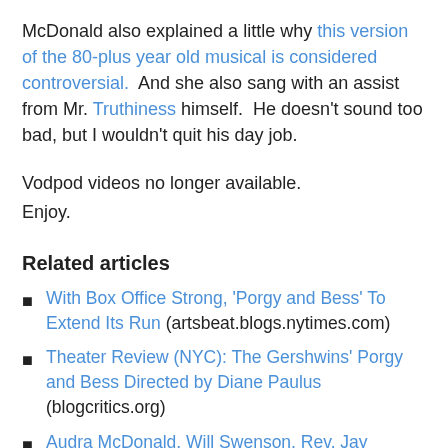McDonald also explained a little why this version of the 80-plus year old musical is considered controversial.  And she also sang with an assist from Mr. Truthiness himself.  He doesn't sound too bad, but I wouldn't quit his day job.
Vodpod videos no longer available.
Enjoy.
Related articles
With Box Office Strong, 'Porgy and Bess' To Extend Its Run (artsbeat.blogs.nytimes.com)
Theater Review (NYC): The Gershwins' Porgy and Bess Directed by Diane Paulus (blogcritics.org)
Audra McDonald, Will Swenson, Rev. Jay Bakker to be honored by PFLAG at Straight for Equality Gala (miamiherald.typepad.com)
'Porgy and Bess': Revamped version to open amid